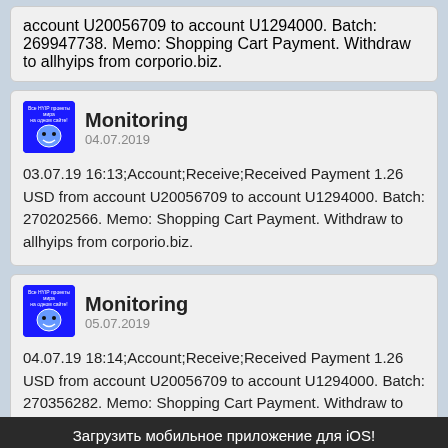account U20056709 to account U1294000. Batch: 269947738. Memo: Shopping Cart Payment. Withdraw to allhyips from corporio.biz.
Monitoring
04.07.2019
03.07.19 16:13;Account;Receive;Received Payment 1.26 USD from account U20056709 to account U1294000. Batch: 270202566. Memo: Shopping Cart Payment. Withdraw to allhyips from corporio.biz.
Monitoring
05.07.2019
04.07.19 18:14;Account;Receive;Received Payment 1.26 USD from account U20056709 to account U1294000. Batch: 270356282. Memo: Shopping Cart Payment. Withdraw to allhyips from corporio.biz.
Поделится  Поделится
« Назад
Вперед »
Загрузить мобильное приложение для iOS!